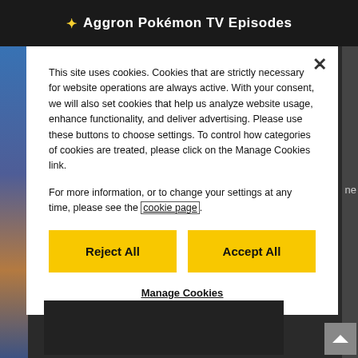Aggron Pokémon TV Episodes
This site uses cookies. Cookies that are strictly necessary for website operations are always active. With your consent, we will also set cookies that help us analyze website usage, enhance functionality, and deliver advertising. Please use these buttons to choose settings. To control how categories of cookies are treated, please click on the Manage Cookies link.
For more information, or to change your settings at any time, please see the cookie page.
Reject All
Accept All
Manage Cookies
Watch Pokémon TV